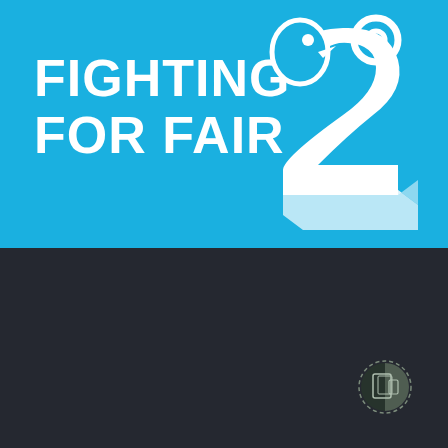[Figure (logo): Two Degrees Mobile 'Fighting For Fair' campaign branding with stylized 2degrees logo on blue background]
FIGHTING FOR FAIR
© Two Degrees Mobile Limited 2022. All rights reserved.
Accessibility
Privacy Policy
Terms and Conditions
[Figure (logo): Small circular icon showing a half-dark half-light device/screen symbol in a dashed circle border]